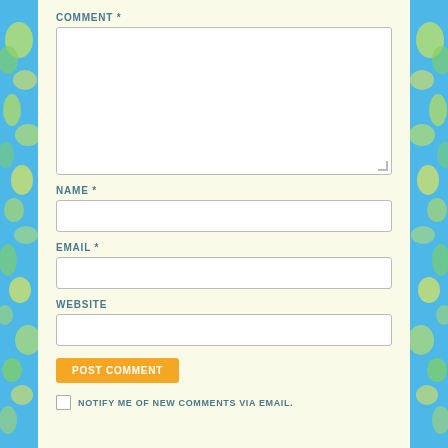COMMENT *
[Comment text area]
NAME *
[Name input]
EMAIL *
[Email input]
WEBSITE
[Website input]
POST COMMENT
NOTIFY ME OF NEW COMMENTS VIA EMAIL.